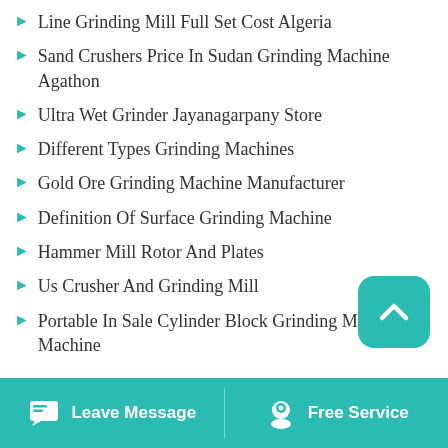Line Grinding Mill Full Set Cost Algeria
Sand Crushers Price In Sudan Grinding Machine Agathon
Ultra Wet Grinder Jayanagarpany Store
Different Types Grinding Machines
Gold Ore Grinding Machine Manufacturer
Definition Of Surface Grinding Machine
Hammer Mill Rotor And Plates
Us Crusher And Grinding Mill
Portable In Sale Cylinder Block Grinding Milling Machine
Leave Message | Free Service